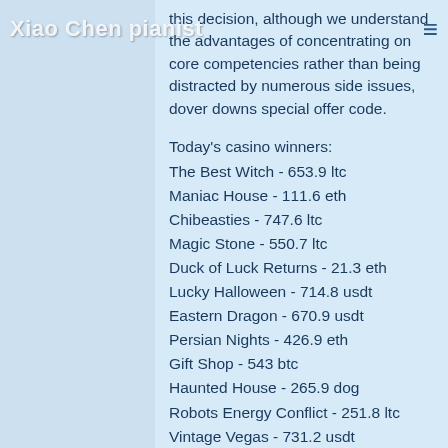Xiao Chen pianist
this decision, although we understand the advantages of concentrating on core competencies rather than being distracted by numerous side issues, dover downs special offer code.
Today's casino winners:
The Best Witch - 653.9 ltc
Maniac House - 111.6 eth
Chibeasties - 747.6 ltc
Magic Stone - 550.7 ltc
Duck of Luck Returns - 21.3 eth
Lucky Halloween - 714.8 usdt
Eastern Dragon - 670.9 usdt
Persian Nights - 426.9 eth
Gift Shop - 543 btc
Haunted House - 265.9 dog
Robots Energy Conflict - 251.8 ltc
Vintage Vegas - 731.2 usdt
Demon Jack 27 - 190.4 dog
Roman Legion Extreme - 210.9 eth
Ocean Secret House - 354.6 eth